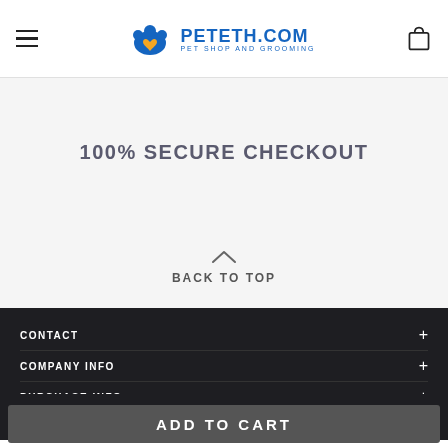PETETH.COM — PET SHOP AND GROOMING
100% SECURE CHECKOUT
BACK TO TOP
CONTACT
COMPANY INFO
PURCHASE INFO
[Figure (other): Social media icons: Facebook, Instagram, Twitter, Pinterest]
ADD TO CART